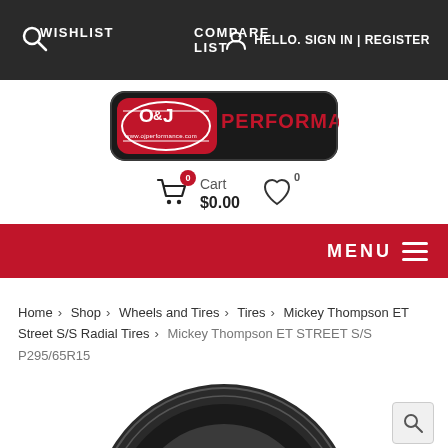WISHLIST  COMPARE LIST  HELLO. SIGN IN | REGISTER
[Figure (logo): O&J Performance logo - red and black oval badge with text PERFORMANCE and www.ojperformance.com]
Cart $0.00   0
MENU
Home > Shop > Wheels and Tires > Tires > Mickey Thompson ET Street S/S Radial Tires > Mickey Thompson ET STREET S/S P295/65R15
[Figure (photo): Partially visible tire product image at bottom of page]